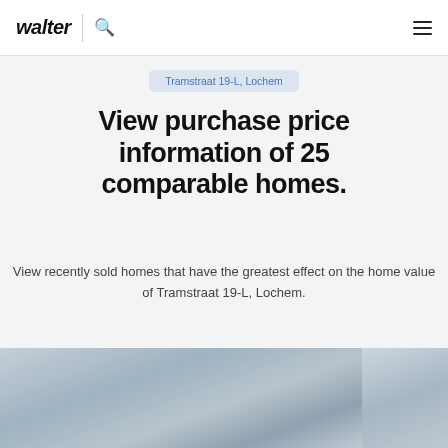walter | search | menu
Tramstraat 19-L, Lochem
View purchase price information of 25 comparable homes.
View recently sold homes that have the greatest effect on the home value of Tramstraat 19-L, Lochem.
[Figure (photo): Blurred exterior photo of a residential home, partially visible on the left side of the strip at the bottom of the page]